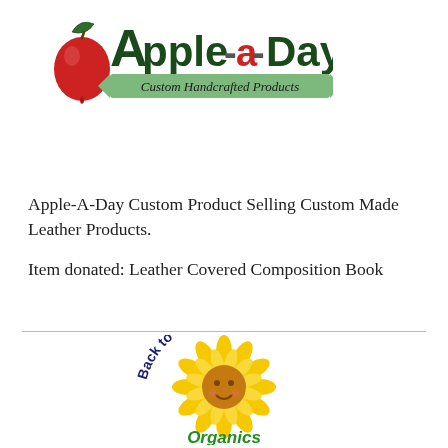[Figure (logo): Apple-a-Day Custom Handcrafted Products logo with green apple graphic and banner]
Apple-A-Day Custom Product Selling Custom Made Leather Products.
Item donated: Leather Covered Composition Book
[Figure (logo): Back to Basics Organics logo with sunflower graphic]